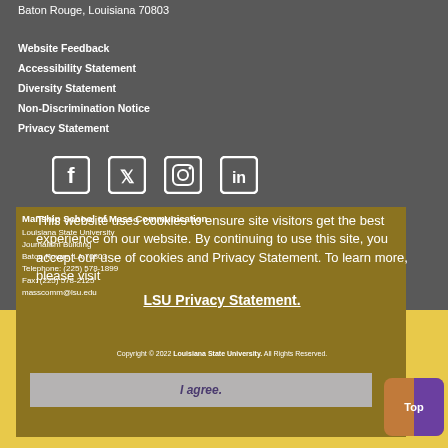Baton Rouge, Louisiana 70803
Website Feedback
Accessibility Statement
Diversity Statement
Non-Discrimination Notice
Privacy Statement
[Figure (infographic): Social media icons: Facebook, Twitter, Instagram, LinkedIn]
Manship School of Mass Communication
Louisiana State University
Journalism Building
Baton Rouge, LA 70803
Telephone: (225) 578-1899
Fax: (225) 578-2125
masscomm@lsu.edu
This website uses cookies to ensure site visitors get the best experience on our website. By continuing to use this site, you accept our use of cookies and Privacy Statement. To learn more, please visit LSU Privacy Statement.
Copyright © 2022 Louisiana State University. All Rights Reserved.
I agree.